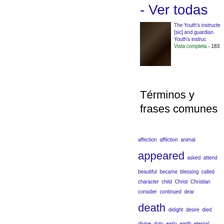- Ver todas
[Figure (photo): Thumbnail image of an old book cover, dark brown color]
The Youth's instructe [sic] and guardian Youth's instruc Vista completa - 183
Términos y frases comunes
affection affliction animal appeared asked attend beautiful became blessing called character child Christ Christian consider continued dear death delight desire died divine duty early earth eternal father fear feel feet flowers